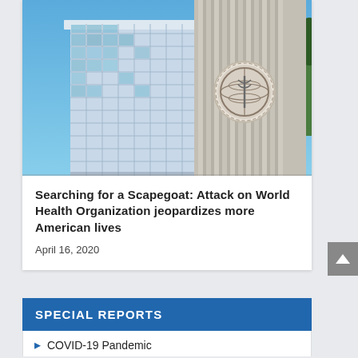[Figure (photo): WHO headquarters building in Geneva — two buildings visible: a modern glass multi-story building on the left and a concrete brutalist tower on the right bearing the WHO emblem (globe with caduceus). Blue sky in background with some clouds and trees on the right edge.]
Searching for a Scapegoat: Attack on World Health Organization jeopardizes more American lives
April 16, 2020
SPECIAL REPORTS
COVID-19 Pandemic